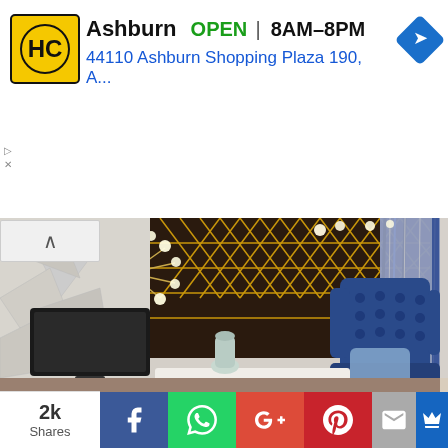[Figure (screenshot): Advertisement banner for HC at Ashburn location, showing logo, OPEN status, hours 8AM-8PM, and address 44110 Ashburn Shopping Plaza 190, A...]
[Figure (photo): Interior room photo showing a modern living space with geometric patterned dark wall panels with gold lines, a modern sputnik chandelier, wall-mounted flat screen TV, a tall blue tufted wingback chair, blue and white curtains, and a decorative vase on a white surface.]
2k Shares